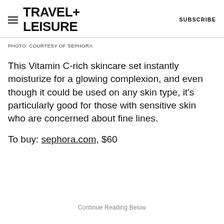TRAVEL+LEISURE   SUBSCRIBE
PHOTO: COURTESY OF SEPHORA
This Vitamin C-rich skincare set instantly moisturize for a glowing complexion, and even though it could be used on any skin type, it's particularly good for those with sensitive skin who are concerned about fine lines.
To buy: sephora.com, $60
Continue Reading Below